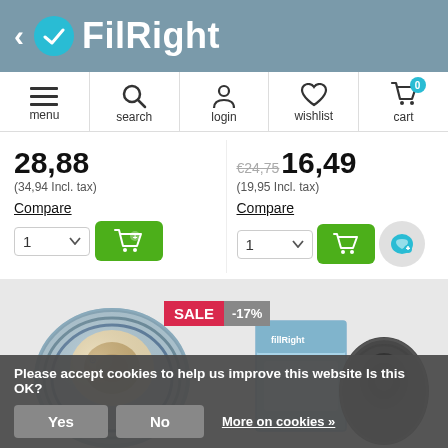[Figure (screenshot): FilRight e-commerce website header with logo, navigation bar (menu, search, login, wishlist, cart), product pricing with add-to-cart buttons, product images with SALE -17% badge, and cookie consent bar.]
28,88
(34,94 Incl. tax)
€24,75 16,49
(19,95 Incl. tax)
Compare
Compare
Please accept cookies to help us improve this website Is this OK?
Yes
No
More on cookies »